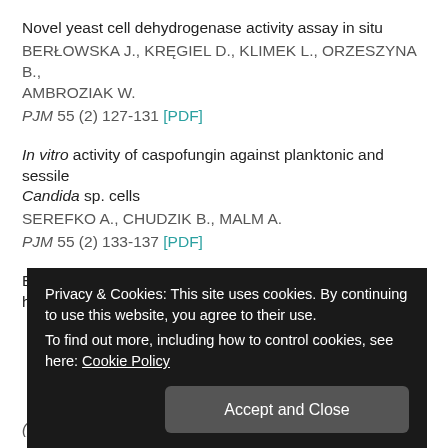Novel yeast cell dehydrogenase activity assay in situ
BERŁOWSKA J., KRĘGIEL D., KLIMEK L., ORZESZYNA B., AMBROZIAK W.
PJM 55 (2) 127-131 [PDF]
In vitro activity of caspofungin against planktonic and sessile Candida sp. cells
SEREFKO A., CHUDZIK B., MALM A.
PJM 55 (2) 133-137 [PDF]
Enhancement of oil degradation by co-culture of hydrocarbon
(preliminary results)